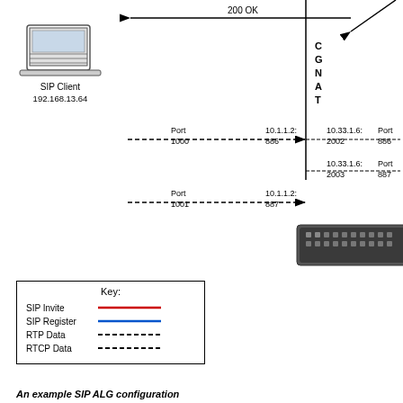[Figure (network-graph): SIP ALG network diagram showing SIP Client (192.168.13.64) connected through CGNAT device to network. Shows 200 OK arrow, RTP/RTCP data flows with ports: Port 1000 to 10.1.1.2:886 mapped to 10.33.1.6:2002 Port 886; Port 1001 to 10.1.1.2:887 mapped to 10.33.1.6:2003 Port 887. A network appliance (F5 device) is shown.]
[Figure (infographic): Key legend box showing: SIP Invite (red line), SIP Register (blue line), RTP Data (black dashed line), RTCP Data (black dashed line)]
An example SIP ALG configuration
In this example, an LSN pool is configured with a translation IP address and prefix length of 10.33.1.0/24. The virtual server is configured with a register and invite port that use a wildcard destination address and a specific port: 0.0.0.0:560. The SIP RTP data port is configured to use